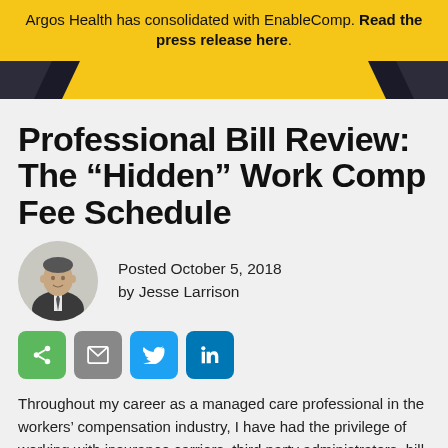Argos Health has consolidated with EnableComp. Read the press release here.
[Figure (photo): Header banner image with dark navy and gold/yellow color blocks]
Professional Bill Review: The “Hidden” Work Comp Fee Schedule
Posted October 5, 2018
by Jesse Larrison
[Figure (photo): Circular headshot portrait of Jesse Larrison, a man in a dark suit seated]
[Figure (infographic): Row of social share buttons: share (green), email (gray), Twitter (light blue), LinkedIn (dark blue)]
Throughout my career as a managed care professional in the workers’ compensation industry, I have had the privilege of working with insurance carriers, third party administrators, bill